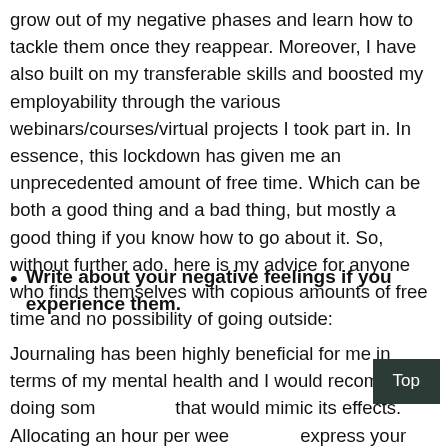grow out of my negative phases and learn how to tackle them once they reappear. Moreover, I have also built on my transferable skills and boosted my employability through the various webinars/courses/virtual projects I took part in. In essence, this lockdown has given me an unprecedented amount of free time. Which can be both a good thing and a bad thing, but mostly a good thing if you know how to go about it. So, without further ado, here is my advice for anyone who finds themselves with copious amounts of free time and no possibility of going outside:
Write about your negative feelings if you experience them.
Journaling has been highly beneficial for me in terms of my mental health and I would recommend doing something that would mimic its effects. Allocating an hour per week to express your feelings on paper is enough to make you more